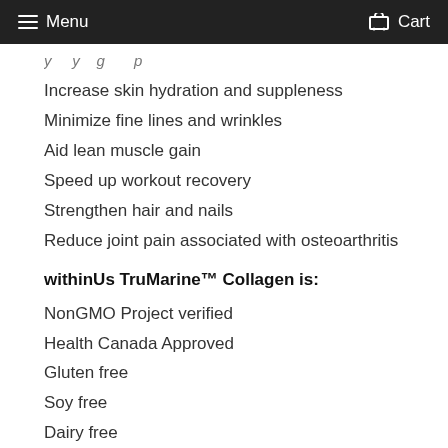Menu   Cart
…partially visible line…
Increase skin hydration and suppleness
Minimize fine lines and wrinkles
Aid lean muscle gain
Speed up workout recovery
Strengthen hair and nails
Reduce joint pain associated with osteoarthritis
withinUs TruMarine™ Collagen is:
NonGMO Project verified
Health Canada Approved
Gluten free
Soy free
Dairy free
Kosher
Wild caught